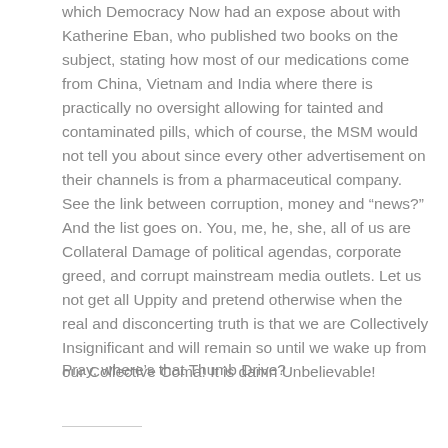which Democracy Now had an expose about with Katherine Eban, who published two books on the subject, stating how most of our medications come from China, Vietnam and India where there is practically no oversight allowing for tainted and contaminated pills, which of course, the MSM would not tell you about since every other advertisement on their channels is from a pharmaceutical company. See the link between corruption, money and “news?” And the list goes on. You, me, he, she, all of us are Collateral Damage of political agendas, corporate greed, and corrupt mainstream media outlets. Let us not get all Uppity and pretend otherwise when the real and disconcerting truth is that we are Collectively Insignificant and will remain so until we wake up from our Collective Coma! It is damn Unbelievable!
Pray, where’s that Thumb Drive?